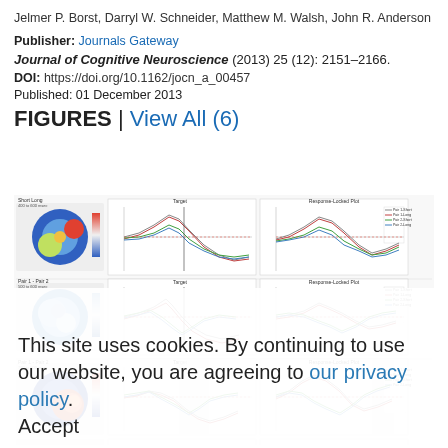Jelmer P. Borst, Darryl W. Schneider, Matthew M. Walsh, John R. Anderson
Publisher: Journals Gateway
Journal of Cognitive Neuroscience (2013) 25 (12): 2151–2166.
DOI: https://doi.org/10.1162/jocn_a_00457
Published: 01 December 2013
FIGURES | View All (6)
[Figure (other): Panel of EEG/ERP figures showing topographic brain maps and time-series plots for multiple experimental conditions (Pair 1, Pair 2, Pair 3; Short/Long) across Target and Response-locked views. Three rows visible, each with a topographic map on the left and two line plots (Target and Response-locked) on the right. A fourth row is partially visible at the bottom.]
This site uses cookies. By continuing to use our website, you are agreeing to our privacy policy. Accept